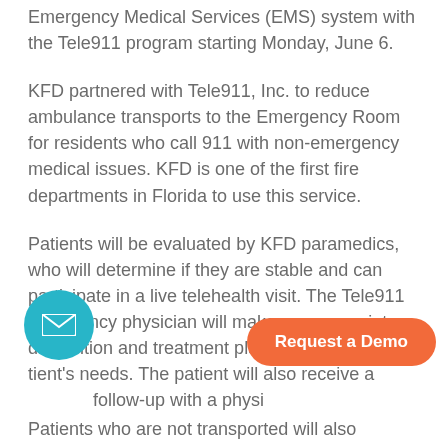Emergency Medical Services (EMS) system with the Tele911 program starting Monday, June 6.
KFD partnered with Tele911, Inc. to reduce ambulance transports to the Emergency Room for residents who call 911 with non-emergency medical issues. KFD is one of the first fire departments in Florida to use this service.
Patients will be evaluated by KFD paramedics, who will determine if they are stable and can participate in a live telehealth visit. The Tele911 emergency physician will make an appropriate disposition and treatment plan that meets the patient's needs. The patient will also receive a follow-up with a physician.
Patients who are not transported will also